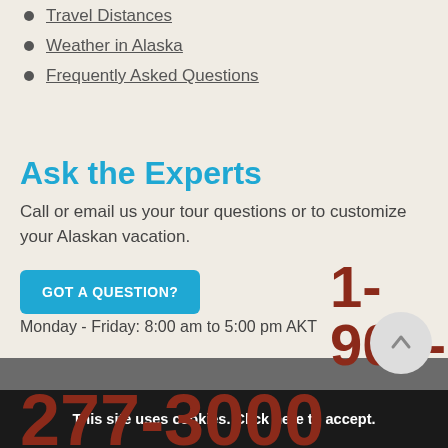Travel Distances
Weather in Alaska
Frequently Asked Questions
Ask the Experts
Call or email us your tour questions or to customize your Alaskan vacation.
GOT A QUESTION?
1-907-277-3000
Monday - Friday: 8:00 am to 5:00 pm AKT
This site uses cookies. Click here to accept.